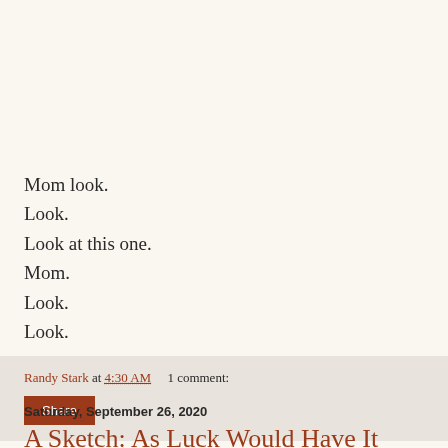Mom look.
Look.
Look at this one.
Mom.
Look.
Look.
Randy Stark at 4:30 AM    1 comment:
Share
Saturday, September 26, 2020
A Sketch: As Luck Would Have It